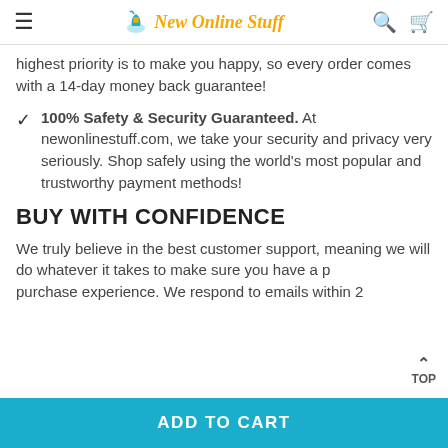New Online Stuff
highest priority is to make you happy, so every order comes with a 14-day money back guarantee!
100% Safety & Security Guaranteed. At newonlinestuff.com, we take your security and privacy very seriously. Shop safely using the world's most popular and trustworthy payment methods!
BUY WITH CONFIDENCE
We truly believe in the best customer support, meaning we will do whatever it takes to make sure you have a p... purchase experience. We respond to emails within 2...